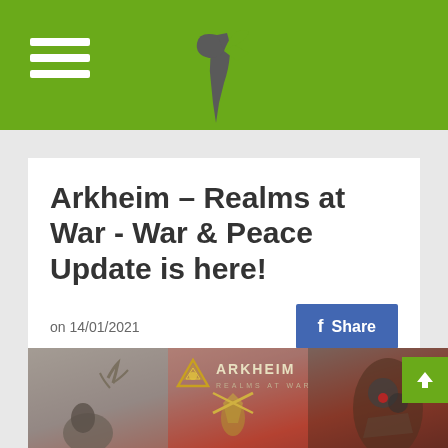Navigation header with hamburger menu and site logo
Arkheim – Realms at War - War & Peace Update is here!
on 14/01/2021
[Figure (screenshot): Facebook Share button]
[Figure (illustration): Arkheim Realms at War game artwork showing fantasy characters and weapons with the game logo]